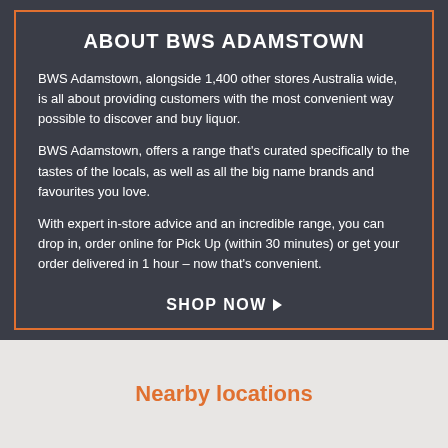ABOUT BWS ADAMSTOWN
BWS Adamstown, alongside 1,400 other stores Australia wide, is all about providing customers with the most convenient way possible to discover and buy liquor.
BWS Adamstown, offers a range that's curated specifically to the tastes of the locals, as well as all the big name brands and favourites you love.
With expert in-store advice and an incredible range, you can drop in, order online for Pick Up (within 30 minutes) or get your order delivered in 1 hour – now that's convenient.
SHOP NOW ▶
Nearby locations